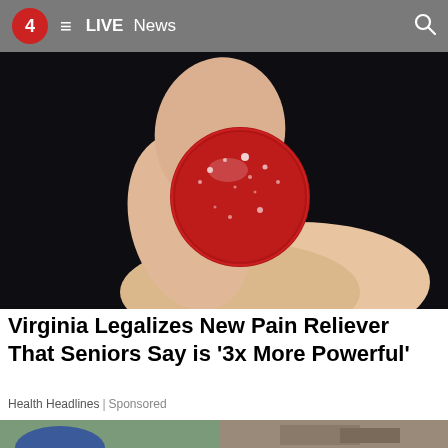4  ≡  LIVE  News
[Figure (photo): Close-up of fingers holding a red sugar-coated gummy/candy against a dark background]
Virginia Legalizes New Pain Reliever That Seniors Say is ‘3x More Powerful’
Health Headlines | Sponsored
[Figure (photo): Partial view of a second image at the bottom of the page showing outdoor scene with blue-clothed figure]